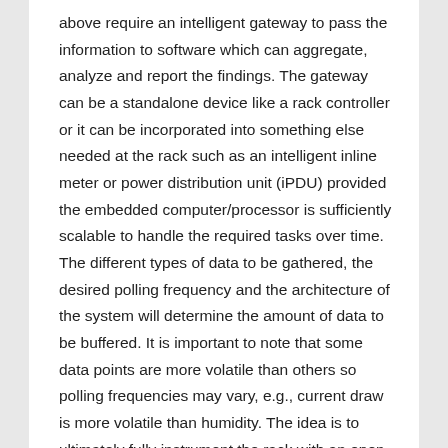above require an intelligent gateway to pass the information to software which can aggregate, analyze and report the findings. The gateway can be a standalone device like a rack controller or it can be incorporated into something else needed at the rack such as an intelligent inline meter or power distribution unit (iPDU) provided the embedded computer/processor is sufficiently scalable to handle the required tasks over time. The different types of data to be gathered, the desired polling frequency and the architecture of the system will determine the amount of data to be buffered. It is important to note that some data points are more volatile than others so polling frequencies may vary, e.g., current draw is more volatile than humidity. The idea is to ultimately fully instrument the rack with an open and interoperable system with sufficient capacity to handle a variety of data with room to grow over time.